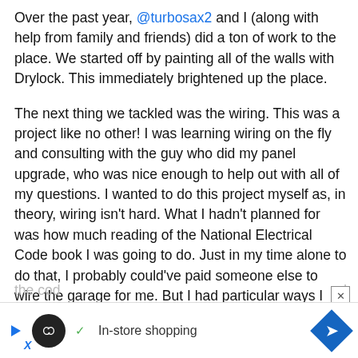Over the past year, @turbosax2 and I (along with help from family and friends) did a ton of work to the place. We started off by painting all of the walls with Drylock. This immediately brightened up the place.
The next thing we tackled was the wiring. This was a project like no other! I was learning wiring on the fly and consulting with the guy who did my panel upgrade, who was nice enough to help out with all of my questions. I wanted to do this project myself as, in theory, wiring isn't hard. What I hadn't planned for was how much reading of the National Electrical Code book I was going to do. Just in my time alone to do that, I probably could've paid someone else to wire the garage for me. But I had particular ways I envisioned it which sadly didn't work out the more I dug int
[Figure (other): Advertisement overlay bar with infinity loop icon, checkmark, 'In-store shopping' text, and blue diamond arrow icon. Partially obscures bottom text. Close button (X) visible in top-right of overlay.]